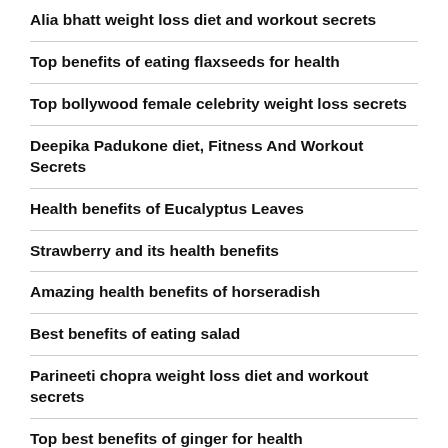Alia bhatt weight loss diet and workout secrets
Top benefits of eating flaxseeds for health
Top bollywood female celebrity weight loss secrets
Deepika Padukone diet, Fitness And Workout Secrets
Health benefits of Eucalyptus Leaves
Strawberry and its health benefits
Amazing health benefits of horseradish
Best benefits of eating salad
Parineeti chopra weight loss diet and workout secrets
Top best benefits of ginger for health